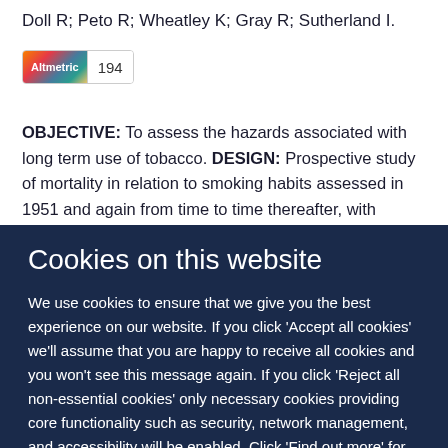Doll R; Peto R; Wheatley K; Gray R; Sutherland I.
[Figure (other): Altmetric badge showing score of 194]
OBJECTIVE: To assess the hazards associated with long term use of tobacco. DESIGN: Prospective study of mortality in relation to smoking habits assessed in 1951 and again from time to time thereafter, with causes sought of deaths over 40 years (to 1991). Continuation of a study that was last reported
Cookies on this website
We use cookies to ensure that we give you the best experience on our website. If you click 'Accept all cookies' we'll assume that you are happy to receive all cookies and you won't see this message again. If you click 'Reject all non-essential cookies' only necessary cookies providing core functionality such as security, network management, and accessibility will be enabled. Click 'Find out more' for information on how to change your cookie settings.